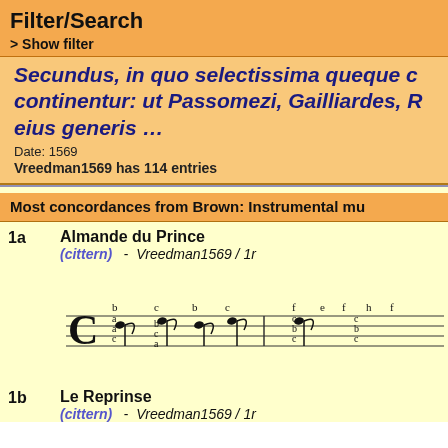Filter/Search
> Show filter
Secundus, in quo selectissima quaeque continentur: ut Passomezi, Gailliardes, R eius generis …
Date: 1569
Vreedman1569 has 114 entries
Most concordances from Brown: Instrumental mu
1a   Almande du Prince
(cittern) - Vreedman1569 / 1r
[Figure (other): Musical tablature notation staff in common time (C) with notes and letter tablature symbols]
1b   Le Reprinse
(cittern) - Vreedman1569 / 1r